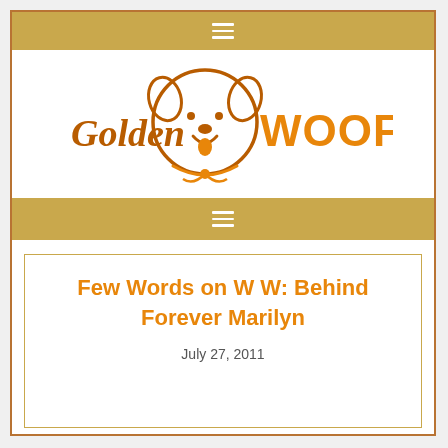≡
[Figure (logo): Golden Woofs logo with a cartoon golden retriever dog face and the text 'Golden WOOFS' in brown and orange]
≡
Few Words on W W: Behind Forever Marilyn
July 27, 2011